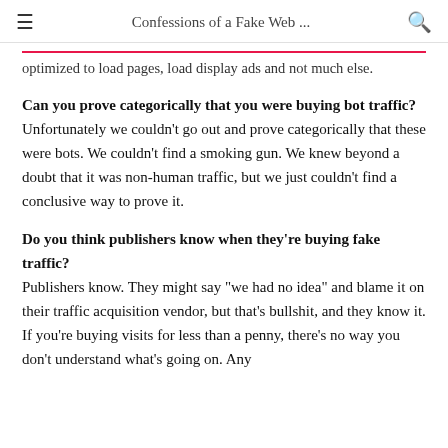Confessions of a Fake Web ...
optimized to load pages, load display ads and not much else.
Can you prove categorically that you were buying bot traffic? Unfortunately we couldn't go out and prove categorically that these were bots. We couldn't find a smoking gun. We knew beyond a doubt that it was non-human traffic, but we just couldn't find a conclusive way to prove it.
Do you think publishers know when they're buying fake traffic?
Publishers know. They might say "we had no idea" and blame it on their traffic acquisition vendor, but that's bullshit, and they know it. If you're buying visits for less than a penny, there's no way you don't understand what's going on. Any